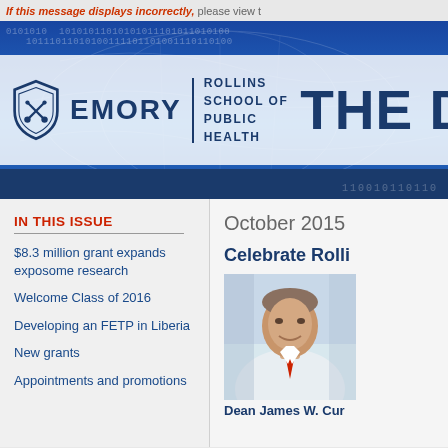If this message displays incorrectly, please view t
[Figure (logo): Emory Rollins School of Public Health banner with shield logo, EMORY wordmark, ROLLINS SCHOOL OF PUBLIC HEALTH text, and 'THE D' partial title text on blue and white banner background with world map and binary code overlay]
IN THIS ISSUE
$8.3 million grant expands exposome research
Welcome Class of 2016
Developing an FETP in Liberia
New grants
Appointments and promotions
October 2015
Celebrate Rolli
[Figure (photo): Portrait photo of Dean James W. Cur (partially visible name), a smiling man in a white dress shirt and red tie]
Dean James W. Cur